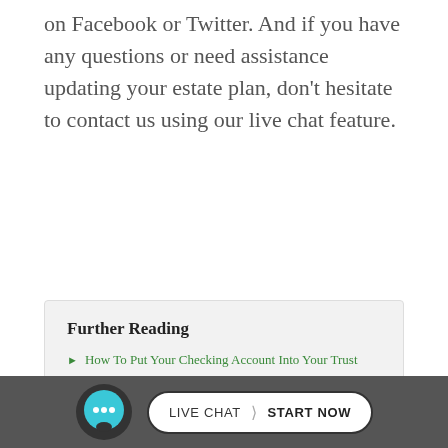on Facebook or Twitter. And if you have any questions or need assistance updating your estate plan, don't hesitate to contact us using our live chat feature.
Further Reading
How To Put Your Checking Account Into Your Trust
Five Ways to Modify an Irrevocable Trust in Anaheim
Taking Your IRA Benefits over a Five Year Distribution.
LIVE CHAT  START NOW